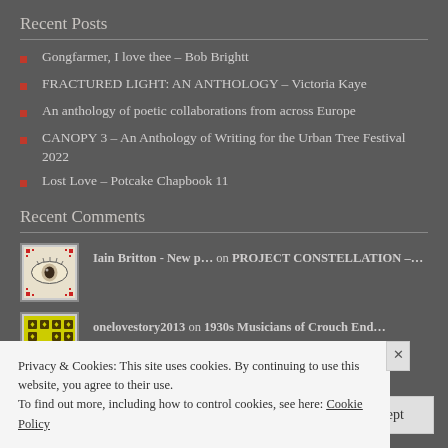Recent Posts
Gongfarmer, I love thee – Bob Brightt
FRACTURED LIGHT: AN ANTHOLOGY – Victoria Kaye
An anthology of poetic collaborations from across Europe
CANOPY 3 – An Anthology of Writing for the Urban Tree Festival 2022
Lost Love – Potcake Chapbook 11
Recent Comments
Iain Britton - New p… on PROJECT CONSTELLATION –…
onelovestory2013 on 1930s Musicians of Crouch End…
Privacy & Cookies: This site uses cookies. By continuing to use this website, you agree to their use.
To find out more, including how to control cookies, see here: Cookie Policy
Close and accept